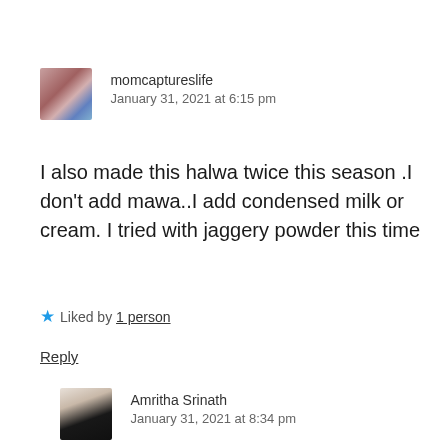[Figure (photo): Small avatar photo of momcaptureslife user, woman in dark top with colorful background]
momcaptureslife
January 31, 2021 at 6:15 pm
I also made this halwa twice this season .I don't add mawa..I add condensed milk or cream. I tried with jaggery powder this time
Liked by 1 person
Reply
[Figure (photo): Small avatar photo of Amritha Srinath, woman in dark clothing]
Amritha Srinath
January 31, 2021 at 8:34 pm